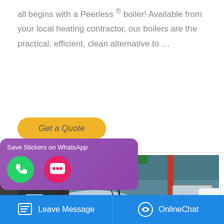all begins with a Peerless ® boiler! Available from your local heating contractor, our boilers are the practical, efficient, clean alternative to …
Get a Quote
[Figure (photo): Industrial boiler equipment in a factory setting with green and red pipes, a cylindrical boiler vessel with Chinese characters, and a control panel on the right]
[Figure (screenshot): Left sidebar overlay showing Chat, Email, and Contact icons on dark background]
[Figure (infographic): WhatsApp popup with 'Save Stickers on WhatsApp' text and two circular icon buttons (phone and chat)]
Leave Message   OnlineChat